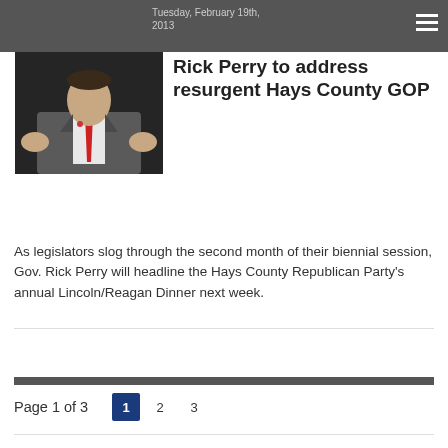Tuesday, February 19th, 2013
[Figure (photo): Photo of Rick Perry in a grey suit with red tie, gesturing with his hands while seated on stage]
Rick Perry to address resurgent Hays County GOP
As legislators slog through the second month of their biennial session, Gov. Rick Perry will headline the Hays County Republican Party's annual Lincoln/Reagan Dinner next week.
Page 1 of 3